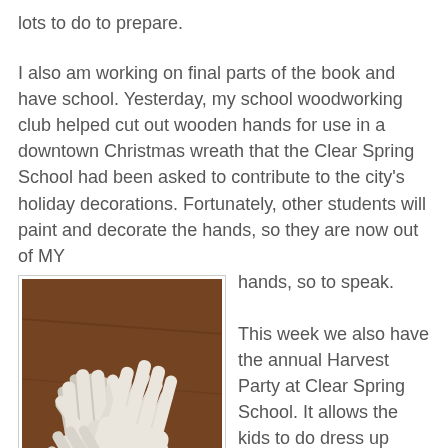lots to do to prepare.
I also am working on final parts of the book and have school. Yesterday, my school woodworking club helped cut out wooden hands for use in a downtown Christmas wreath that the Clear Spring School had been asked to contribute to the city's holiday decorations. Fortunately, other students will paint and decorate the hands, so they are now out of MY hands, so to speak.
[Figure (photo): Multiple white wooden hand cutouts stacked on a wooden table surface, seen from above.]
This week we also have the annual Harvest Party at Clear Spring School. It allows the kids to do dress up without all the super hero, witch, and mummy theme that has nothing to do with their formal education. Instead, the students dress up in pioneer style and celebrate our heritage. On Friday, members of the woodworking club will